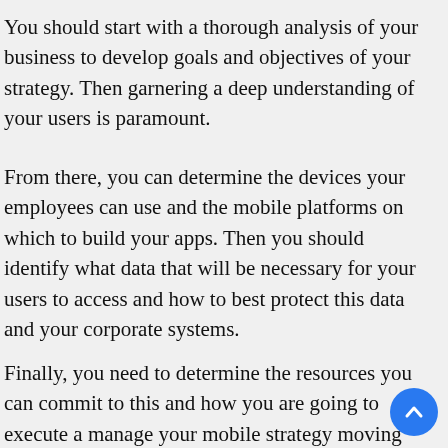You should start with a thorough analysis of your business to develop goals and objectives of your strategy. Then garnering a deep understanding of your users is paramount.
From there, you can determine the devices your employees can use and the mobile platforms on which to build your apps. Then you should identify what data that will be necessary for your users to access and how to best protect this data and your corporate systems.
Finally, you need to determine the resources you can commit to this and how you are going to execute and manage your mobile strategy moving forward.